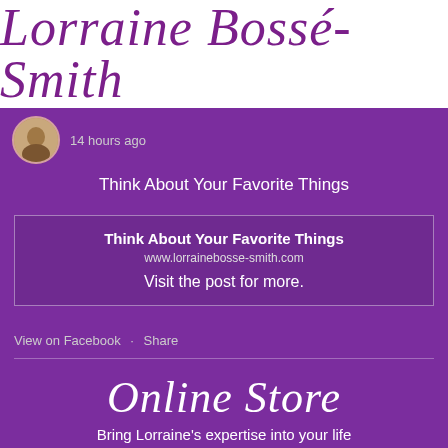Lorraine Bossé-Smith
14 hours ago
Think About Your Favorite Things
Think About Your Favorite Things
www.lorrainebosse-smith.com
Visit the post for more.
View on Facebook · Share
Online Store
Bring Lorraine's expertise into your life